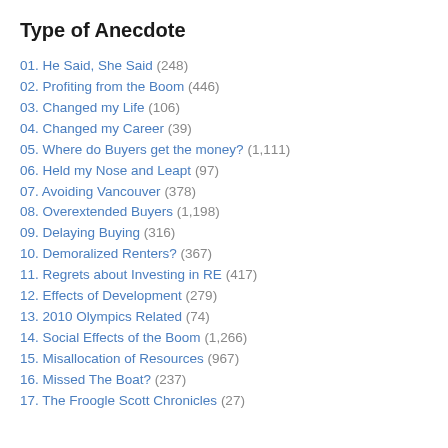Type of Anecdote
01. He Said, She Said (248)
02. Profiting from the Boom (446)
03. Changed my Life (106)
04. Changed my Career (39)
05. Where do Buyers get the money? (1,111)
06. Held my Nose and Leapt (97)
07. Avoiding Vancouver (378)
08. Overextended Buyers (1,198)
09. Delaying Buying (316)
10. Demoralized Renters? (367)
11. Regrets about Investing in RE (417)
12. Effects of Development (279)
13. 2010 Olympics Related (74)
14. Social Effects of the Boom (1,266)
15. Misallocation of Resources (967)
16. Missed The Boat? (237)
17. The Froogle Scott Chronicles (27)